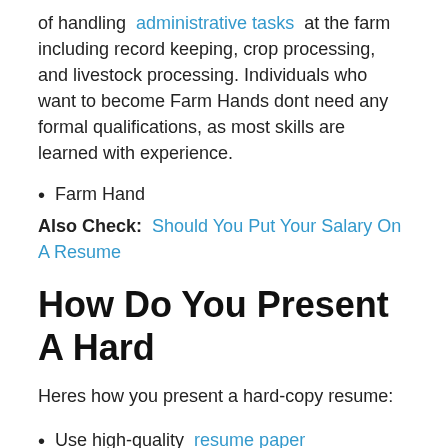of handling administrative tasks at the farm including record keeping, crop processing, and livestock processing. Individuals who want to become Farm Hands dont need any formal qualifications, as most skills are learned with experience.
Farm Hand
Also Check: Should You Put Your Salary On A Resume
How Do You Present A Hard
Heres how you present a hard-copy resume:
Use high-quality resume paper
Print a hard copy of your resume onto standard 8.5 × 11 US letter-size paper